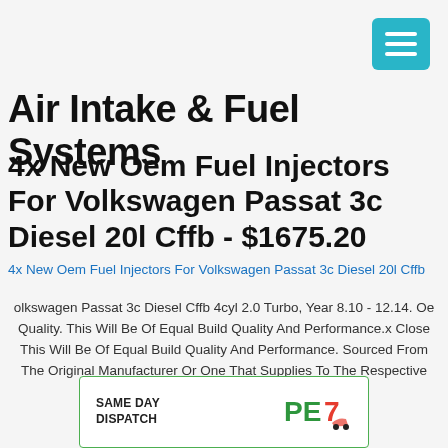Air Intake & Fuel Systems
4x New Oem Fuel Injectors For Volkswagen Passat 3c Diesel 20l Cffb - $1675.20
4x New Oem Fuel Injectors For Volkswagen Passat 3c Diesel 20l Cffb
Volkswagen Passat 3c Diesel Cffb 4cyl 2.0 Turbo, Year 8.10 - 12.14. Oem Quality. This Will Be Of Equal Build Quality And Performance.x Close This Will Be Of Equal Build Quality And Performance. Sourced From The Original Manufacturer Or One That Supplies To The Respective Car Manufacturerx.
[Figure (logo): Same Day Dispatch badge with PE7 Precision Engine logo]